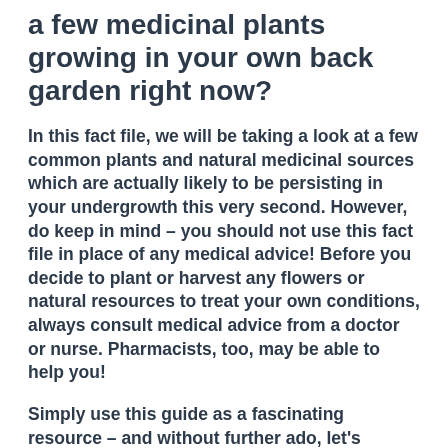a few medicinal plants growing in your own back garden right now?
In this fact file, we will be taking a look at a few common plants and natural medicinal sources which are actually likely to be persisting in your undergrowth this very second. However, do keep in mind – you should not use this fact file in place of any medical advice! Before you decide to plant or harvest any flowers or natural resources to treat your own conditions, always consult medical advice from a doctor or nurse. Pharmacists, too, may be able to help you!
Simply use this guide as a fascinating resource – and without further ado, let's